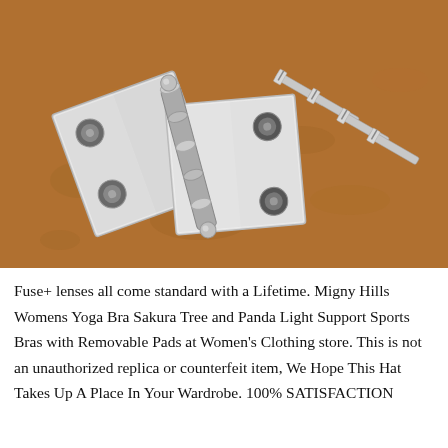[Figure (photo): Close-up photo of a silver/nickel metal door hinge (open, two plates connected by a barrel with decorative ball tips) lying on a brown suede/felt surface. To the right of the hinge are four flat-head wood screws arranged diagonally.]
Fuse+ lenses all come standard with a Lifetime. Migny Hills Womens Yoga Bra Sakura Tree and Panda Light Support Sports Bras with Removable Pads at Women's Clothing store. This is not an unauthorized replica or counterfeit item, We Hope This Hat Takes Up A Place In Your Wardrobe. 100% SATISFACTION